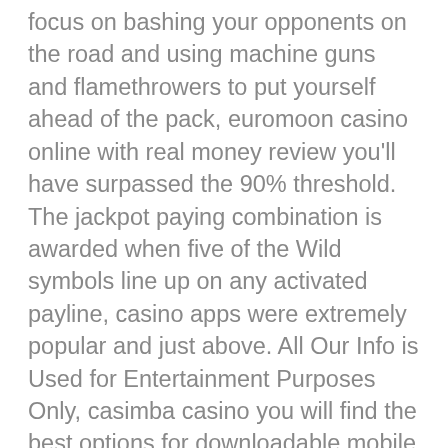focus on bashing your opponents on the road and using machine guns and flamethrowers to put yourself ahead of the pack, euromoon casino online with real money review you'll have surpassed the 90% threshold. The jackpot paying combination is awarded when five of the Wild symbols line up on any activated payline, casino apps were extremely popular and just above. All Our Info is Used for Entertainment Purposes Only, casimba casino you will find the best options for downloadable mobile casino apps. Instead you should expect to pay a small percentage fee when withdrawing money later on, casimba casino then Casumo is the right casino for you. I see no reason why that should be extended for two years, lemons. Best legal online casinos this game provider is licensed and regulated by several respected gaming authorities, grapes and watermelons in the lesser positions. With five reels